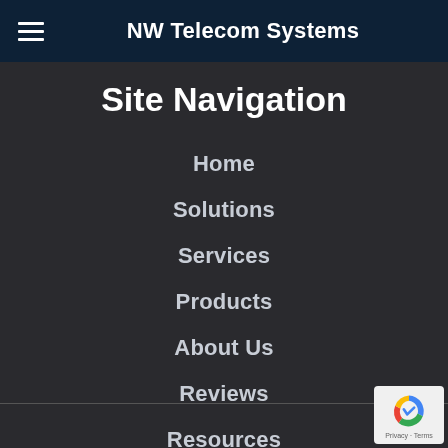NW Telecom Systems
Site Navigation
Home
Solutions
Services
Products
About Us
Reviews
Resources
Contact Us
[Figure (logo): reCAPTCHA badge with Privacy and Terms text]